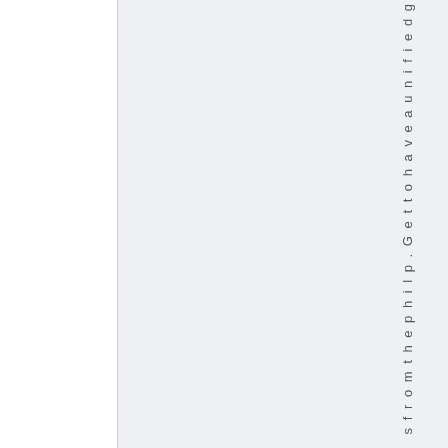s f r o m t h e p h i l p . G e t t o h a v e a u n i f i e d g